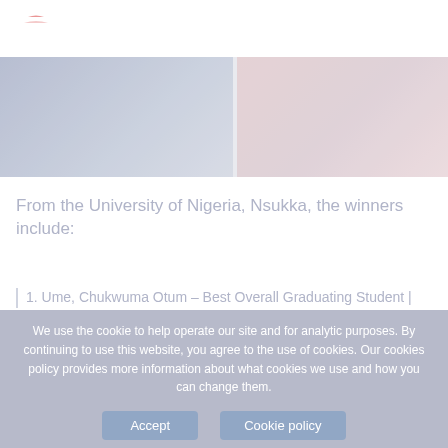The Tony Elumelu Foundation
[Figure (photo): Two side-by-side faded photos showing people, likely a group event or award ceremony related to the Tony Elumelu Foundation.]
From the University of Nigeria, Nsukka, the winners include:
1. Ume, Chukwuma Otum – Best Overall Graduating Student |
We use the cookie to help operate our site and for analytic purposes. By continuing to use this website, you agree to the use of cookies. Our cookies policy provides more information about what cookies we use and how you can change them.
Accept     Cookie policy